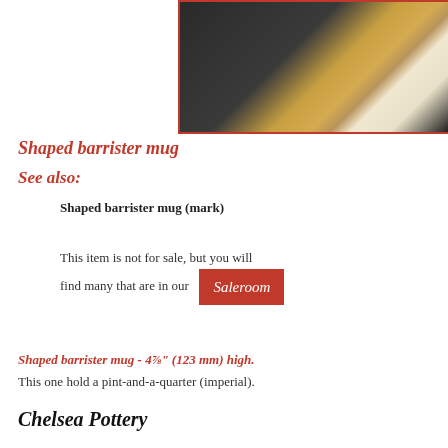[Figure (photo): Close-up photograph of a dark glazed ceramic barrister mug with a painted figure design in tan/brown and white, shown against a dark background, framed with a red border.]
Shaped barrister mug
See also:
Shaped barrister mug (mark)
This item is not for sale, but you will find many that are in our Saleroom
Shaped barrister mug - 4⅞" (123 mm) high.
This one hold a pint-and-a-quarter (imperial).
Chelsea Pottery